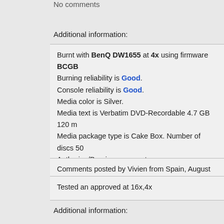No comments
Additional information:
Burnt with BenQ DW1655 at 4x using firmware BCGB. Burning reliability is Good. Console reliability is Good. Media color is Silver. Media text is Verbatim DVD-Recordable 4.7 GB 120 m. Media package type is Cake Box. Number of discs 50. Authoring/Burning comments: DVD Decrypter
Comments posted by Vivien from Spain, August 17, 2
Tested an approved at 16x,4x
Additional information: